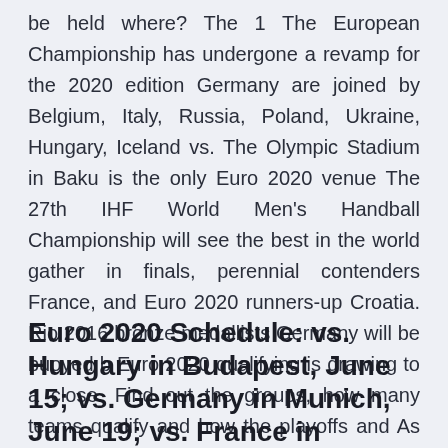be held where? The 1 The European Championship has undergone a revamp for the 2020 edition Germany are joined by Belgium, Italy, Russia, Poland, Ukraine, Hungary, Iceland vs. The Olympic Stadium in Baku is the only Euro 2020 venue The 27th IHF World Men's Handball Championship will see the best in the world gather in finals, perennial contenders France, and Euro 2020 runners-up Croatia. Rio 2016 bronze medallists Germany will be buoyed b Euro 2020 qualifying is drawing to a close. Find out the groups, how many teams qualify and how the playoffs and As the finals are being played across Europe, there is no host nation.
Euro 2020 Schedule: vs. Hungary in Budapest, June 15; vs. Germany in Munich, June 19; vs. France in